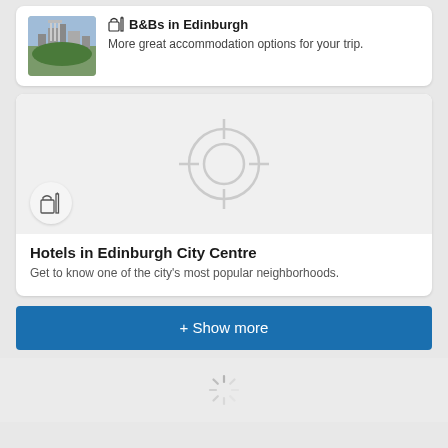[Figure (photo): Edinburgh cityscape photo thumbnail]
B&Bs in Edinburgh
More great accommodation options for your trip.
[Figure (map): Map placeholder with crosshair/target icon in light grey]
Hotels in Edinburgh City Centre
Get to know one of the city's most popular neighborhoods.
+ Show more
[Figure (other): Loading spinner icon]